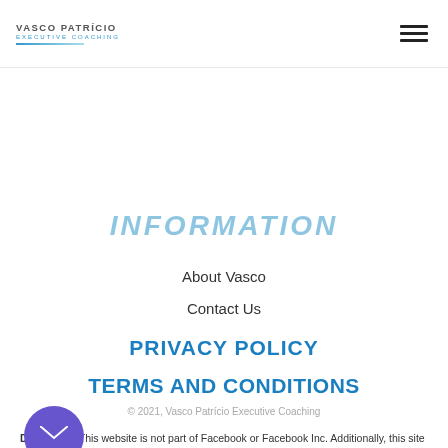VASCO PATRÍCIO EXECUTIVE COACHING
INFORMATION
About Vasco
Contact Us
PRIVACY POLICY
TERMS AND CONDITIONS
© 2021, Vasco Patrício Executive Coaching
Disclaimer: This website is not part of Facebook or Facebook Inc. Additionally, this site is NOT endorsed by Facebook in any way. FACEBOOK is a trademark of FACEBOOK Inc.